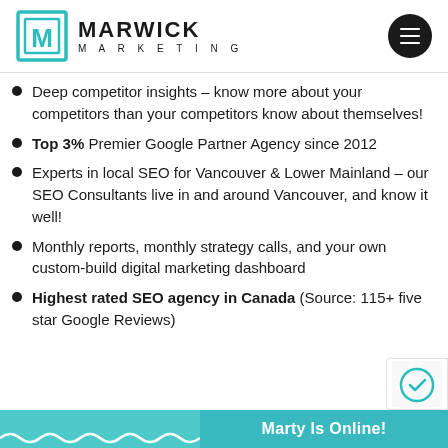[Figure (logo): Marwick Marketing logo with teal M in square bracket box and company name]
Deep competitor insights – know more about your competitors than your competitors know about themselves!
Top 3% Premier Google Partner Agency since 2012
Experts in local SEO for Vancouver & Lower Mainland – our SEO Consultants live in and around Vancouver, and know it well!
Monthly reports, monthly strategy calls, and your own custom-build digital marketing dashboard
Highest rated SEO agency in Canada (Source: 115+ five star Google Reviews)
Marty Is Online!